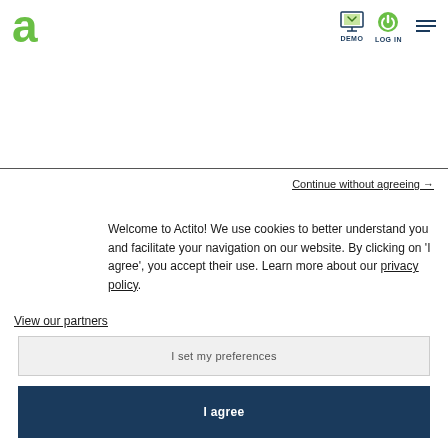[Figure (logo): Actito green 'a' logo in top left corner]
[Figure (screenshot): Navigation bar with DEMO icon (monitor with green checkmark), LOG IN icon (green power button), and hamburger menu icon (three lines)]
Continue without agreeing →
Welcome to Actito! We use cookies to better understand you and facilitate your navigation on our website. By clicking on 'I agree', you accept their use. Learn more about our privacy policy.
View our partners
I set my preferences
I agree